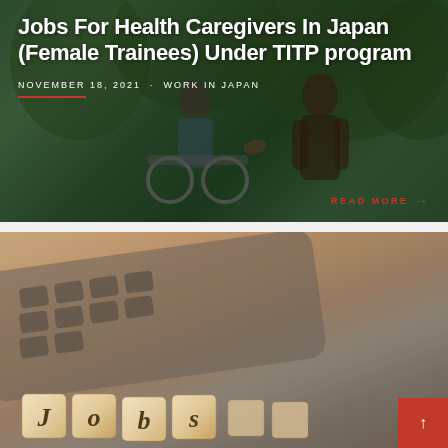[Figure (photo): Background photo of a health caregiver (woman in dark top) assisting an elderly person in a wheelchair, outdoors with green trees, with dark overlay. Card-style blog post.]
Jobs For Health Caregivers In Japan (Female Trainees) Under TITP program
NOVEMBER 18, 2021 · WORK IN JAPAN
READ MORE →
[Figure (photo): Blurred photo of a calculator keyboard and wooden letter blocks spelling 'Jobs' on a warm peach/brown background. Card-style blog post preview image.]